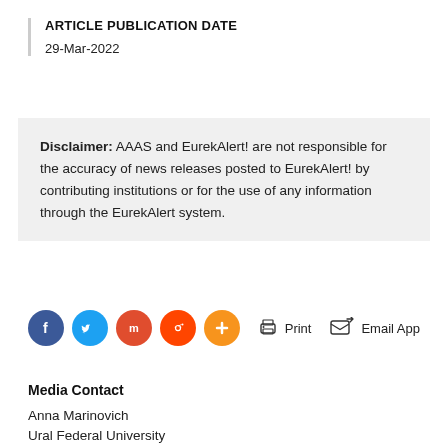ARTICLE PUBLICATION DATE
29-Mar-2022
Disclaimer: AAAS and EurekAlert! are not responsible for the accuracy of news releases posted to EurekAlert! by contributing institutions or for the use of any information through the EurekAlert system.
[Figure (other): Social share buttons: Facebook, Twitter, Mix, Reddit, plus button; Print and Email App action buttons]
Media Contact
Anna Marinovich
Ural Federal University